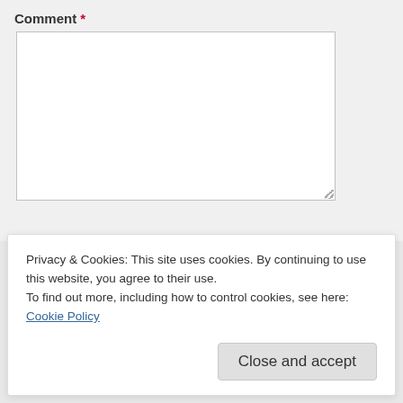Comment *
[Figure (screenshot): Comment text area input box, empty]
Name *
[Figure (screenshot): Name single-line input box, empty]
Email *
[Figure (screenshot): Email single-line input box, partially visible]
Privacy & Cookies: This site uses cookies. By continuing to use this website, you agree to their use.
To find out more, including how to control cookies, see here: Cookie Policy
Close and accept